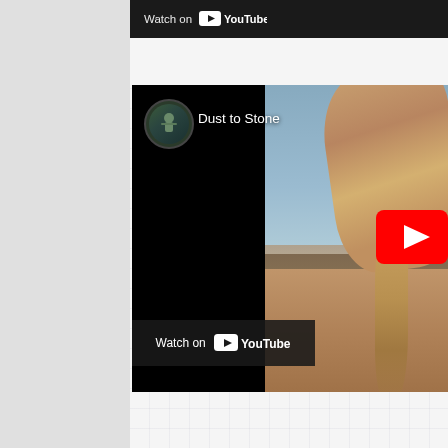[Figure (screenshot): Partial YouTube video embed showing bottom bar with 'Watch on YouTube' text, cropped at top of page]
[Figure (screenshot): YouTube video embed for 'Dust to Stone' with channel avatar showing musician with guitar, video thumbnail showing a hand pouring sand in a desert landscape, YouTube play button overlay, and 'Watch on YouTube' button at bottom left]